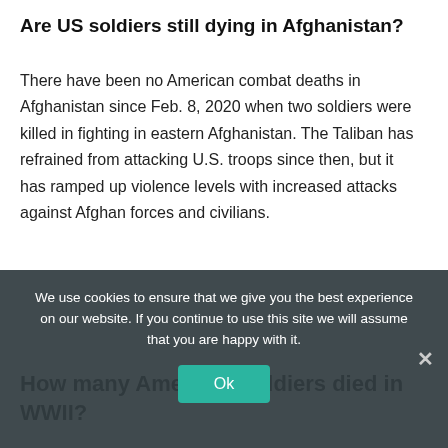Are US soldiers still dying in Afghanistan?
There have been no American combat deaths in Afghanistan since Feb. 8, 2020 when two soldiers were killed in fighting in eastern Afghanistan. The Taliban has refrained from attacking U.S. troops since then, but it has ramped up violence levels with increased attacks against Afghan forces and civilians.
How many American soldiers died in WWII?
US Military Casualties in World War II
| Branch |  | Wounded |
| --- | --- | --- |
| Navy | 62,614 | 37,778 |
We use cookies to ensure that we give you the best experience on our website. If you continue to use this site we will assume that you are happy with it.